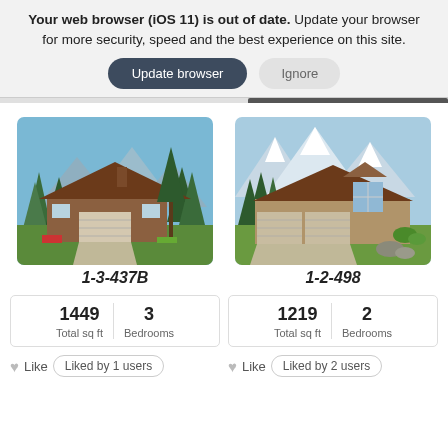Your web browser (iOS 11) is out of date. Update your browser for more security, speed and the best experience on this site.
[Figure (screenshot): Two buttons: 'Update browser' (dark rounded) and 'Ignore' (light rounded)]
[Figure (illustration): House plan illustration 1-3-437B: ranch-style home with brown roof, garage, trees and mountains in background]
1-3-437B
| 1449 | 3 |
| --- | --- |
| Total sq ft | Bedrooms |
Like  Liked by 1 users
[Figure (illustration): House plan illustration 1-2-498: ranch-style home with brown roof, three-car garage, tall trees and snow-capped mountains in background]
1-2-498
| 1219 | 2 |
| --- | --- |
| Total sq ft | Bedrooms |
Like  Liked by 2 users